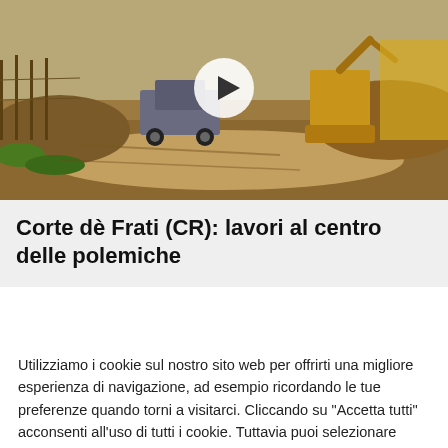[Figure (photo): Construction site with excavators, a van, and dirt roads being built. A play button overlay is visible in the center of the image.]
Corte dè Frati (CR): lavori al centro delle polemiche
Utilizziamo i cookie sul nostro sito web per offrirti una migliore esperienza di navigazione, ad esempio ricordando le tue preferenze quando torni a visitarci. Cliccando su "Accetta tutti" acconsenti all'uso di tutti i cookie. Tuttavia puoi selezionare "Impostazioni cookie" per fornire un consenso controllato.